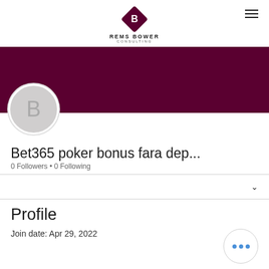[Figure (logo): Rems Bower Consulting logo: dark red diamond shape with letter B, text REMS BOWER CONSULTING below]
[Figure (infographic): Dark maroon/wine colored banner image spanning full width]
[Figure (illustration): Round grey avatar circle with letter B]
Message
Follow
Bet365 poker bonus fara dep...
0 Followers • 0 Following
Profile
Join date: Apr 29, 2022